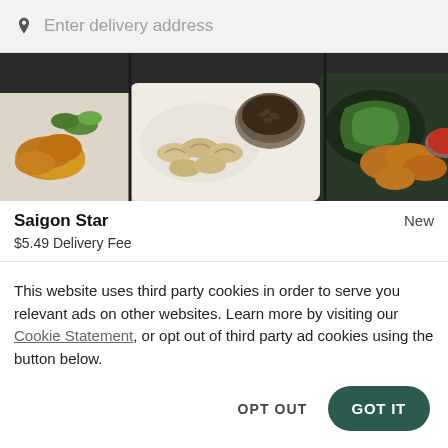Enter delivery address
[Figure (photo): Top-down view of various Asian food dishes including dumplings, fried items, and dipping sauces arranged on white and dark plates]
Saigon Star
New
$5.49 Delivery Fee
This website uses third party cookies in order to serve you relevant ads on other websites. Learn more by visiting our Cookie Statement, or opt out of third party ad cookies using the button below.
OPT OUT
GOT IT